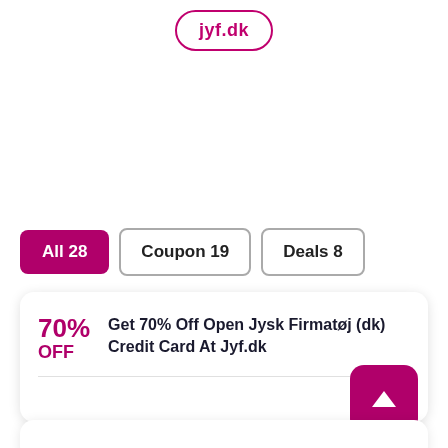[Figure (logo): jyf.dk logo in a rounded oval border, magenta/pink color]
All 28
Coupon 19
Deals 8
70% OFF  Get 70% Off Open Jysk Firmatøj (dk) Credit Card At Jyf.dk
Details &